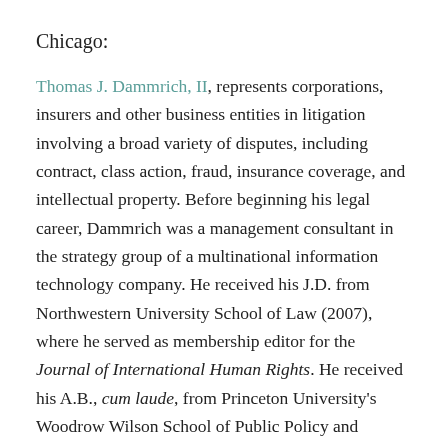Chicago:
Thomas J. Dammrich, II, represents corporations, insurers and other business entities in litigation involving a broad variety of disputes, including contract, class action, fraud, insurance coverage, and intellectual property. Before beginning his legal career, Dammrich was a management consultant in the strategy group of a multinational information technology company. He received his J.D. from Northwestern University School of Law (2007), where he served as membership editor for the Journal of International Human Rights. He received his A.B., cum laude, from Princeton University's Woodrow Wilson School of Public Policy and International